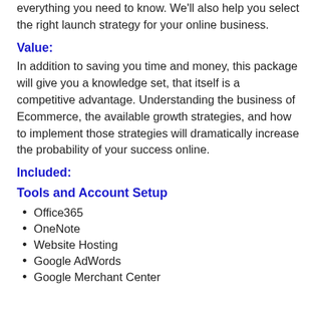From tools to sales tax, we'll cover everything you need to know. We'll also help you select the right launch strategy for your online business.
Value:
In addition to saving you time and money, this package will give you a knowledge set, that itself is a competitive advantage. Understanding the business of Ecommerce, the available growth strategies, and how to implement those strategies will dramatically increase the probability of your success online.
Included:
Tools and Account Setup
Office365
OneNote
Website Hosting
Google AdWords
Google Merchant Center